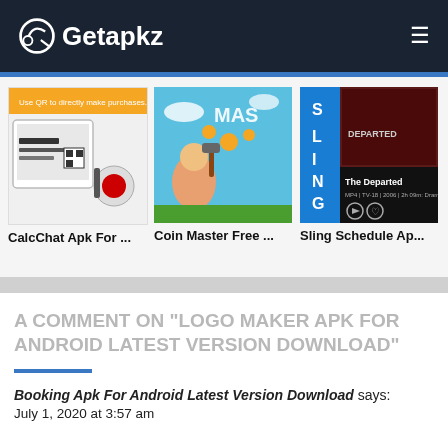Getapkz
[Figure (screenshot): CalcChat app screenshot thumbnail with device and QR code elements]
[Figure (screenshot): Coin Master Free game screenshot with cartoon characters]
[Figure (screenshot): Sling Schedule app screenshot showing The Departed movie]
CalcChat Apk For ...
Coin Master Free ...
Sling Schedule Ap...
A COMMENT ON "LOGO MAKER APK FOR ANDROID LATEST VERSION DOWNLOAD"
Booking Apk For Android Latest Version Download says:
July 1, 2020 at 3:57 am